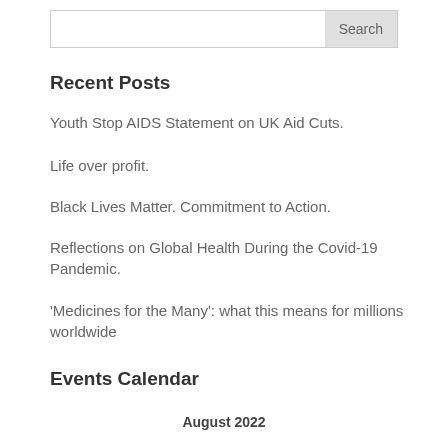Search
Recent Posts
Youth Stop AIDS Statement on UK Aid Cuts.
Life over profit.
Black Lives Matter. Commitment to Action.
Reflections on Global Health During the Covid-19 Pandemic.
'Medicines for the Many': what this means for millions worldwide
Events Calendar
August 2022